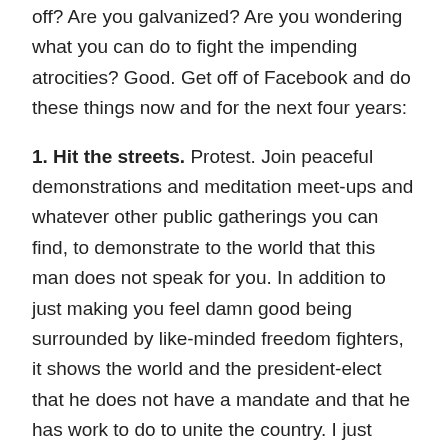off? Are you galvanized? Are you wondering what you can do to fight the impending atrocities? Good. Get off of Facebook and do these things now and for the next four years:
1. Hit the streets. Protest. Join peaceful demonstrations and meditation meet-ups and whatever other public gatherings you can find, to demonstrate to the world that this man does not speak for you. In addition to just making you feel damn good being surrounded by like-minded freedom fighters, it shows the world and the president-elect that he does not have a mandate and that he has work to do to unite the country. I just booked a flight to Washington DC to participate in the Million Women March the day after the presidential inauguration, and I can't wait.
2. Get Involved. Pick a group that fights for the issues that